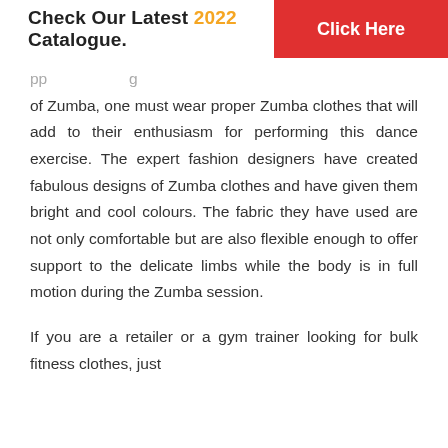Check Our Latest 2022 Catalogue. Click Here
of Zumba, one must wear proper Zumba clothes that will add to their enthusiasm for performing this dance exercise. The expert fashion designers have created fabulous designs of Zumba clothes and have given them bright and cool colours. The fabric they have used are not only comfortable but are also flexible enough to offer support to the delicate limbs while the body is in full motion during the Zumba session.
If you are a retailer or a gym trainer looking for bulk fitness clothes, just